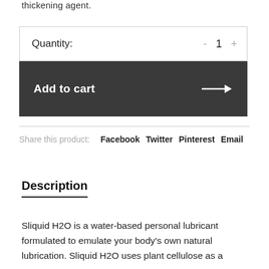thickening agent.
Quantity:   -  1  +
Add to cart →
Share this product:  Facebook  Twitter  Pinterest  Email
Description
Sliquid H2O is a water-based personal lubricant formulated to emulate your body's own natural lubrication. Sliquid H2O uses plant cellulose as a